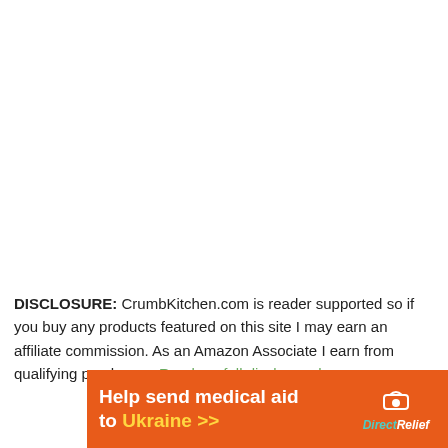[Figure (other): Ezoic ad platform logo and 'report this ad' link bar]
DISCLOSURE: CrumbKitchen.com is reader supported so if you buy any products featured on this site I may earn an affiliate commission. As an Amazon Associate I earn from qualifying purchases. Read my full disclosure here.
[Figure (other): Video player overlay with 'No compatible source was found for this media.' message and X close button over food photo background]
[Figure (other): Orange advertisement banner: 'Help send medical aid to Ukraine >>' with DirectRelief logo]